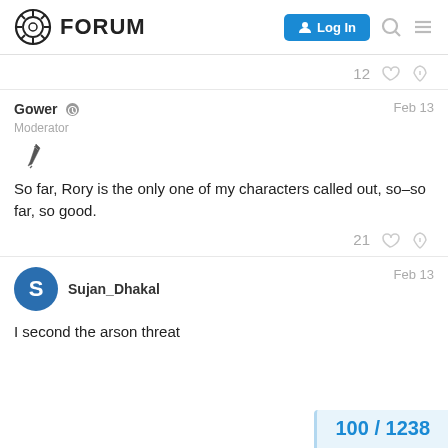FORUM  Log In
12
Gower  Moderator  Feb 13
So far, Rory is the only one of my characters called out, so–so far, so good.
21
Sujan_Dhakal  Feb 13
I second the arson threat
100 / 1238